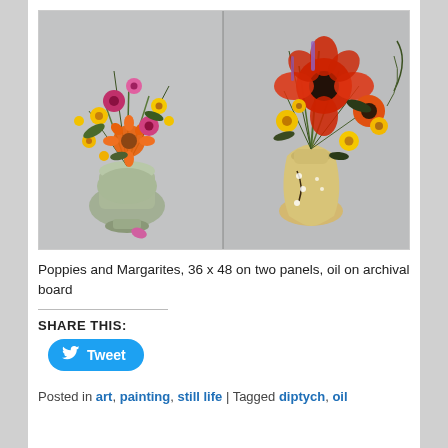[Figure (photo): Diptych painting of two floral arrangements in vases — left panel shows mixed orange, yellow, pink, and magenta flowers in a silvery urn-style vase; right panel shows poppies, marigolds, and other flowers in a cream/yellow ceramic vase with dark vine decoration, against a light grey background.]
Poppies and Margarites, 36 x 48 on two panels, oil on archival board
SHARE THIS:
Tweet
Posted in art, painting, still life | Tagged diptych, oil